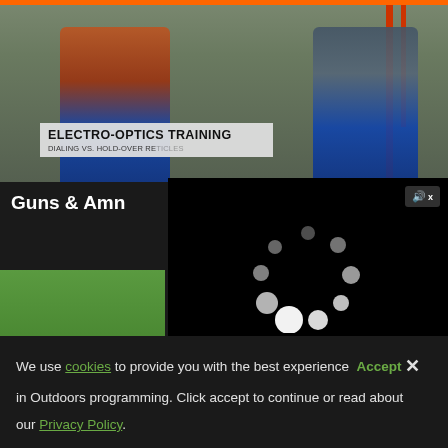[Figure (photo): Two men standing in a shooting range or training facility. The man on the left wears a plaid red/orange shirt and holds a small device. The man on the right wears a plaid blue/grey shirt and holds a rifle. An 'ELECTRO-OPTICS TRAINING / DIALING VS. HOLD-OVER RETICLES' label overlay is visible at the bottom of the image.]
[Figure (screenshot): A video player overlay showing a black loading screen with a circular spinner (dots) in the center. A mute button icon appears top-right. At the bottom are video controls: play button, volume (muted with X), and fullscreen expand icon.]
Guns & Amn
[Figure (photo): Partial photo visible on the lower left: an outdoor scene with green trees in background, a person in shooting attire visible at bottom. Targets visible in background.]
We use cookies to provide you with the best experience  Accept  ×
in Outdoors programming. Click accept to continue or read about
our Privacy Policy.